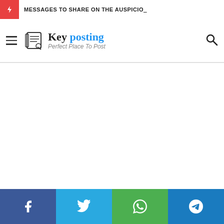MESSAGES TO SHARE ON THE AUSPICIO...
[Figure (logo): Key Posting logo — scroll/newspaper icon with blackletter 'Key' and blue 'posting' text, tagline 'Perfect Place To Post']
[Figure (infographic): Social media share buttons footer: Facebook (blue), Twitter (cyan), WhatsApp (green), Telegram (dark blue)]